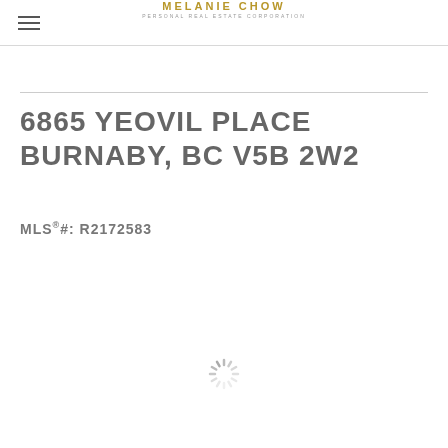MELANIE CHOW — PERSONAL REAL ESTATE CORPORATION
6865 YEOVIL PLACE BURNABY, BC V5B 2W2
MLS®#: R2172583
[Figure (other): Loading spinner icon]